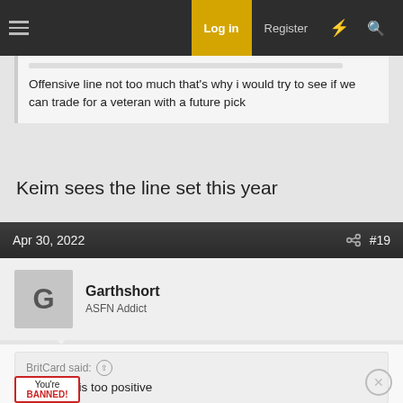Log in | Register
Offensive line not too much that's why i would try to see if we can trade for a veteran with a future pick
Keim sees the line set this year
Apr 30, 2022  #19
Garthshort
ASFN Addict
BritCard said: ↑
This post is too positive
[Figure (illustration): You're BANNED sticker with small figure graphic]